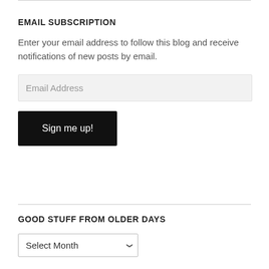EMAIL SUBSCRIPTION
Enter your email address to follow this blog and receive notifications of new posts by email.
[Figure (other): Email address input field with placeholder text 'Email Address']
[Figure (other): Black button labeled 'Sign me up!']
GOOD STUFF FROM OLDER DAYS
[Figure (other): Dropdown select menu with placeholder 'Select Month']